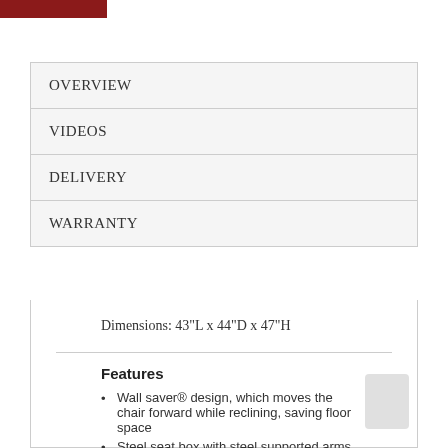[Figure (other): Dark red/maroon rectangular button or banner at top left]
OVERVIEW
VIDEOS
DELIVERY
WARRANTY
Dimensions: 43"L x 44"D x 47"H
Features
Wall saver® design, which moves the chair forward while reclining, saving floor space
Steel seat box with steel supported arms